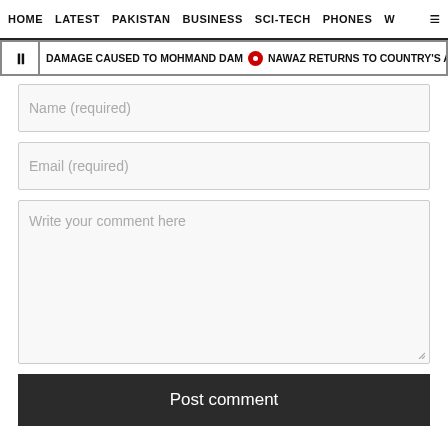HOME  LATEST  PAKISTAN  BUSINESS  SCI-TECH  PHONES  W
DAMAGE CAUSED TO MOHMAND DAM  •  NAWAZ RETURNS TO COUNTRY'S AIRWA…
Name (required)
Email (required)
Write your comment here
Post comment
Comments are moderated and generally will be posted if they are on-topic and not abusive.